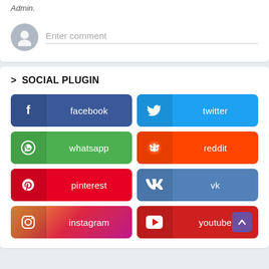Admin.
Enter comment
> SOCIAL PLUGIN
[Figure (infographic): Social media sharing buttons grid: facebook, twitter, whatsapp, reddit, pinterest, vk, instagram, youtube]
[Figure (other): Scroll-to-top button with upward chevron, purple background]